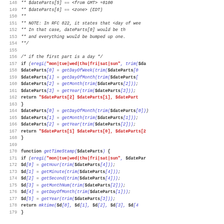[Figure (screenshot): Source code listing in PHP showing date parsing functions with syntax highlighting. Line numbers 148-179 visible. Comments in italic, keywords bold, strings in red, function names in blue.]